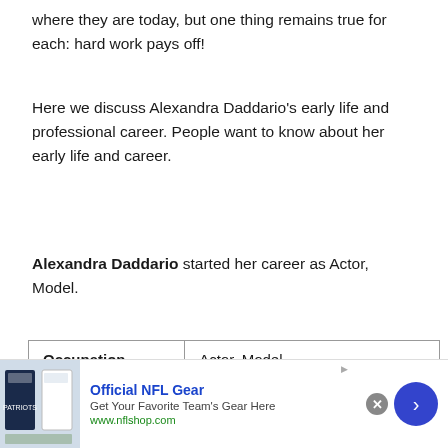where they are today, but one thing remains true for each: hard work pays off!
Here we discuss Alexandra Daddario's early life and professional career. People want to know about her early life and career.
Alexandra Daddario started her career as Actor, Model.
| Occupation | Actor, Model |
| --- | --- |
| Distinguished | She is known for playing Annabeth Chase in the P... |
[Figure (other): Advertisement banner for Official NFL Gear with image of NFL jerseys, text 'Official NFL Gear', 'Get Your Favorite Team's Gear Here', 'www.nflshop.com', close button, and navigation arrow]